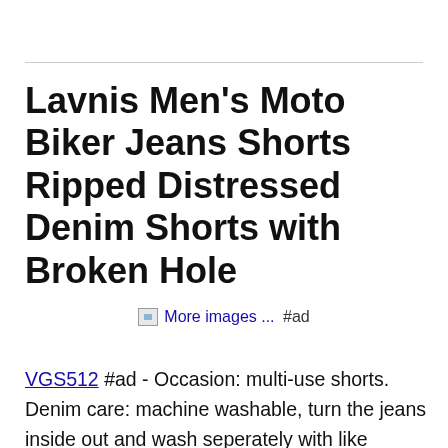Lavnis Men's Moto Biker Jeans Shorts Ripped Distressed Denim Shorts with Broken Hole
[Figure (other): Broken image placeholder icon labeled 'More images ...' with '#ad' text beside it]
VGS512 #ad - Occasion: multi-use shorts. Denim care: machine washable, turn the jeans inside out and wash seperately with like colors. Material: Denim, Cotton.